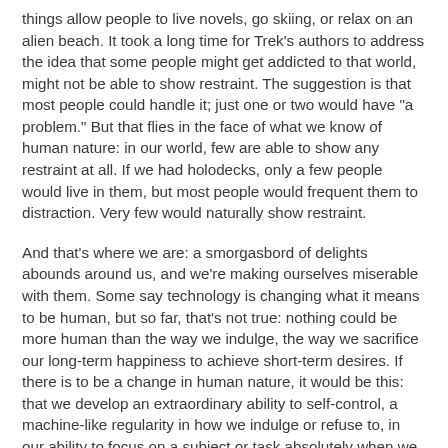things allow people to live novels, go skiing, or relax on an alien beach. It took a long time for Trek's authors to address the idea that some people might get addicted to that world, might not be able to show restraint. The suggestion is that most people could handle it; just one or two would have "a problem." But that flies in the face of what we know of human nature: in our world, few are able to show any restraint at all. If we had holodecks, only a few people would live in them, but most people would frequent them to distraction. Very few would naturally show restraint.
And that's where we are: a smorgasbord of delights abounds around us, and we're making ourselves miserable with them. Some say technology is changing what it means to be human, but so far, that's not true: nothing could be more human than the way we indulge, the way we sacrifice our long-term happiness to achieve short-term desires. If there is to be a change in human nature, it would be this: that we develop an extraordinary ability to self-control, a machine-like regularity in how we indulge or refuse to, in our ability to focus on a subject or task absolutely when we are required to. We would have to develop these new abilities, because